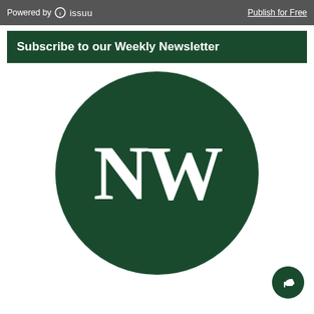Powered by issuu    Publish for Free
Subscribe to our Weekly Newsletter
[Figure (logo): NW logo — white letters N and W on a dark green circle background]